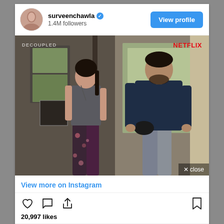surveenchawla ✓ 1.4M followers
[Figure (screenshot): Instagram post showing two actors from the Netflix show 'Decoupled' — a woman in workout clothes and a man in a dark hoodie standing in a room. DECOUPLED label top-left, NETFLIX label top-right in red.]
View more on Instagram
20,997 likes
Add a comment...